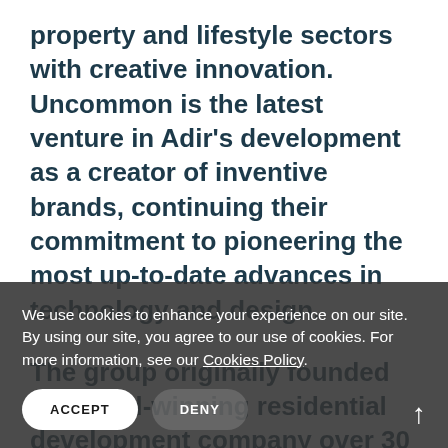property and lifestyle sectors with creative innovation. Uncommon is the latest venture in Adir's development as a creator of inventive brands, continuing their commitment to pioneering the most up-to-date advances in technology and design.

The group originally founded an award-winning residential development company over 30 years ago, and has successfully acquiring and developing residential assets in prime and near prime locations, including ranging between high value single dwellings to multiple unit
We use cookies to enhance your experience on our site. By using our site, you agree to our use of cookies. For more information, see our Cookies Policy.